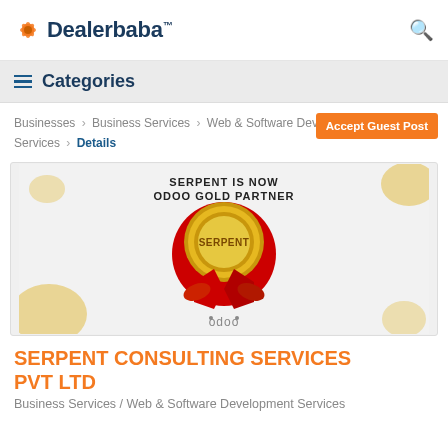Dealerbaba™
☰ Categories
Businesses > Business Services > Web & Software Development Services > Details
Accept Guest Post
[Figure (photo): Serpent is now Odoo Gold Partner promotional banner with a gold medal/ribbon award and odoo logo]
SERPENT CONSULTING SERVICES PVT LTD
Business Services / Web & Software Development Services